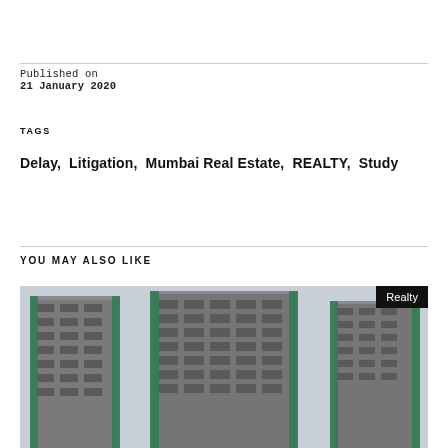Published on
21 January 2020
TAGS
Delay,  Litigation,  Mumbai Real Estate,  REALTY,  Study
YOU MAY ALSO LIKE
[Figure (photo): Photograph of a high-rise residential building under construction, with green scaffolding nets on the facade, against an overcast sky. A 'Realty' badge label is overlaid in the top-right corner of the image.]